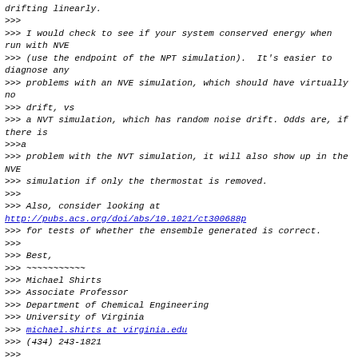drifting linearly.
>>>
>>> I would check to see if your system conserved energy when run with NVE
>>> (use the endpoint of the NPT simulation).  It's easier to diagnose any
>>> problems with an NVE simulation, which should have virtually no
>>> drift, vs
>>> a NVT simulation, which has random noise drift. Odds are, if there is
>>>a
>>> problem with the NVT simulation, it will also show up in the NVE
>>> simulation if only the thermostat is removed.
>>>
>>> Also, consider looking at
http://pubs.acs.org/doi/abs/10.1021/ct300688p
>>> for tests of whether the ensemble generated is correct.
>>>
>>> Best,
>>> ~~~~~~~~~~~
>>> Michael Shirts
>>> Associate Professor
>>> Department of Chemical Engineering
>>> University of Virginia
>>> michael.shirts at virginia.edu
>>> (434) 243-1821
>>>